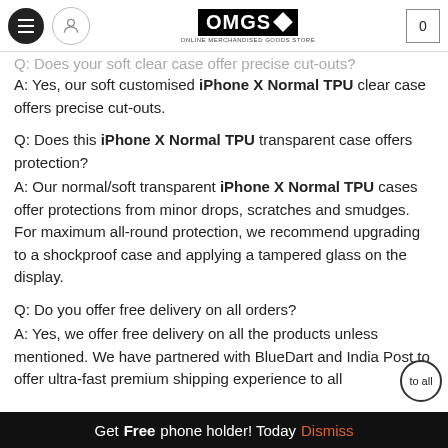OMGS - ONLINE MERCHANDISED GOODS STORE [header with navigation and cart]
Q: Does your soft clear case offer precise cut-outs?
A: Yes, our soft customised iPhone X Normal TPU clear case offers precise cut-outs.
Q: Does this iPhone X Normal TPU transparent case offers protection?
A: Our normal/soft transparent iPhone X Normal TPU cases offer protections from minor drops, scratches and smudges. For maximum all-round protection, we recommend upgrading to a shockproof case and applying a tampered glass on the display.
Q: Do you offer free delivery on all orders?
A: Yes, we offer free delivery on all the products unless mentioned. We have partnered with BlueDart and India Post to offer ultra-fast premium shipping experience to all
Get Free phone holder! Today Dismiss